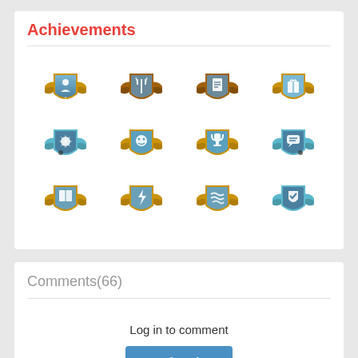Achievements
[Figure (illustration): Grid of 12 achievement badges arranged in 3 rows and 4 columns. Badges are shield-shaped with gold/bronze/teal coloring and various icons.]
Comments(66)
Log in to comment
➔ Log In